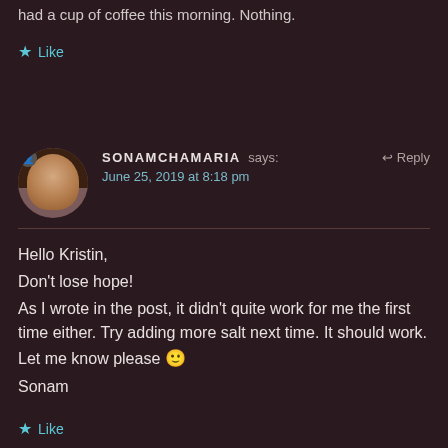had a cup of coffee this morning. Nothing.
★ Like
SONAMCHAMARIA says:  ↩ Reply
June 25, 2019 at 8:18 pm
Hello Kristin,
Don't lose hope!
As I wrote in the post, it didn't quite work for me the first time either. Try adding more salt next time. It should work. Let me know please 🙂
Sonam
★ Like